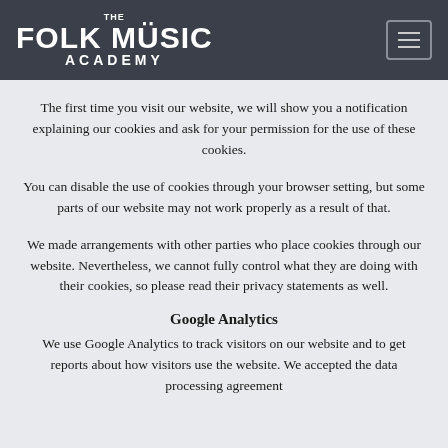THE FOLK MUSIC ACADEMY
The first time you visit our website, we will show you a notification explaining our cookies and ask for your permission for the use of these cookies.
You can disable the use of cookies through your browser setting, but some parts of our website may not work properly as a result of that.
We made arrangements with other parties who place cookies through our website. Nevertheless, we cannot fully control what they are doing with their cookies, so please read their privacy statements as well.
Google Analytics
We use Google Analytics to track visitors on our website and to get reports about how visitors use the website. We accepted the data processing agreement